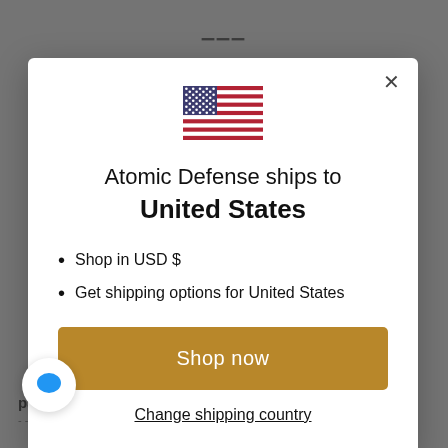[Figure (illustration): US flag emoji/icon centered in modal]
Atomic Defense ships to United States
Shop in USD $
Get shipping options for United States
Shop now
Change shipping country
pain and fatigue